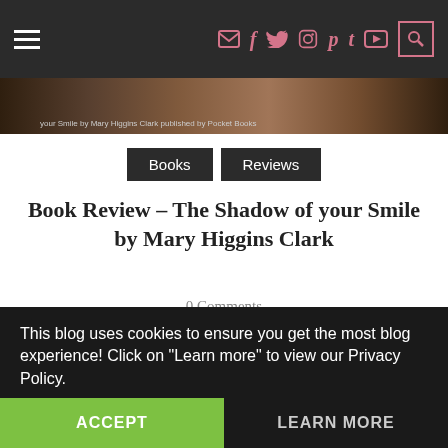Navigation bar with hamburger menu and social icons (email, facebook, twitter, instagram, pinterest, tumblr, youtube, search)
[Figure (photo): Partial book cover image strip with text: 'your Smile by Mary Higgins Clark published by Pocket Books']
Books | Reviews
Book Review – The Shadow of your Smile by Mary Higgins Clark
0 Comments
I am very particular with my 5-star rating and I never give it up easily even with my favorite authors. But with this book, I don't have to think twice giving it that rating. I know you can't possibly have everything, but it just felt like it in this book.
This blog uses cookies to ensure you get the most blog experience! Click on "Learn more" to view our Privacy Policy.
ACCEPT    LEARN MORE